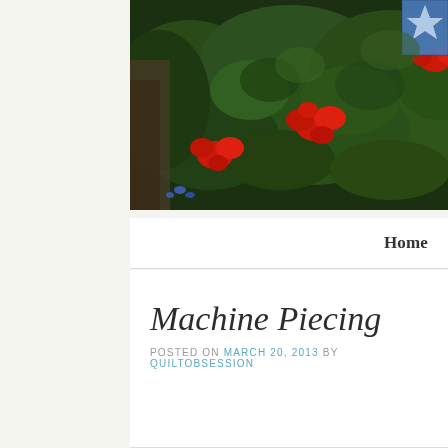[Figure (photo): Photograph of red geranium flowers with lush green foliage, and a glimpse of a blue and white quilt in the upper right corner]
Home
Machine Piecing
POSTED ON MARCH 20, 2013 BY QUILTOBSESSION